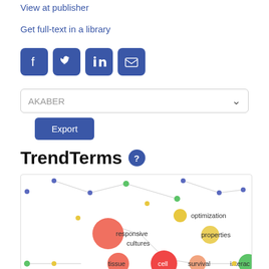View at publisher
Get full-text in a library
[Figure (infographic): Social sharing icons: Facebook, Twitter, LinkedIn, Email]
AKABER (dropdown)
Export
TrendTerms
[Figure (network-graph): TrendTerms bubble/network graph showing terms: optimization, responsive, properties, cultures, tissue, cell, survival, interac(tion), with colored bubbles and connecting lines]